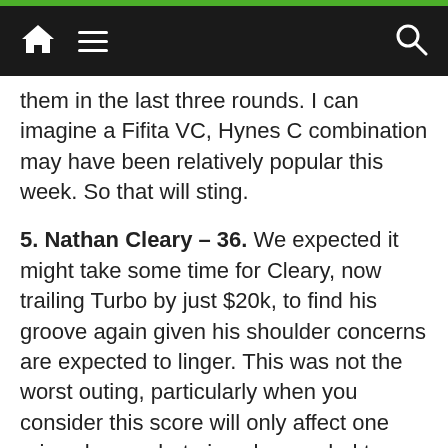Navigation bar with home, menu, and search icons
them in the last three rounds. I can imagine a Fifita VC, Hynes C combination may have been relatively popular this week. So that will sting.
5. Nathan Cleary – 36. We expected it might take some time for Cleary, now trailing Turbo by just $20k, to find his groove again given his shoulder concerns are expected to linger. This was not the worst outing, particularly when you consider this score will only affect one price change, but given he needed to average 100+ to hold his value, it should mean a nice drop assuming he doesn't go to town against the Dogs or Broncos...so I guess he'll cost a million soon enough. 7 missed tackles here and just 9 successful shows he's still got to come a long way, given he complemented his